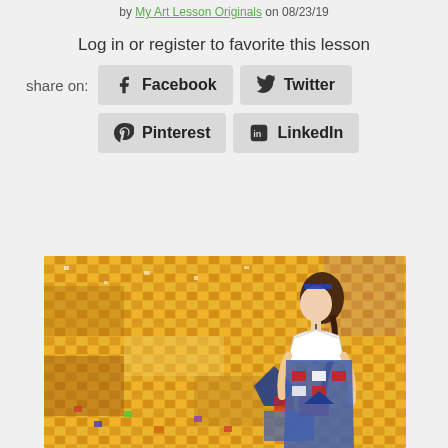by My Art Lesson Originals on 08/23/19
Log in or register to favorite this lesson
share on: Facebook  Twitter  Pinterest  LinkedIn
[Figure (illustration): Colorful artwork of a woman in a patterned dress against a golden mosaic background, in the style of Gustav Klimt.]